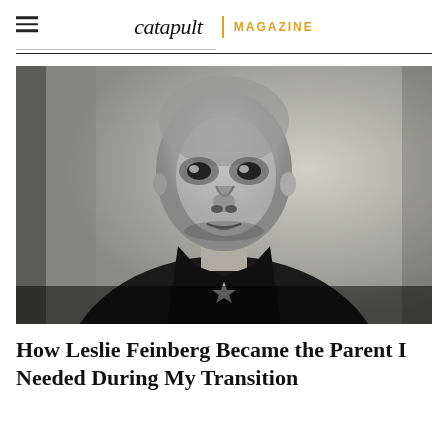catapult | MAGAZINE
[Figure (photo): Black and white portrait photograph of Leslie Feinberg, a person with a shaved head wearing a dark jacket, looking slightly upward with a serious expression. A small star-shaped brooch or pin is visible on the lapel.]
How Leslie Feinberg Became the Parent I Needed During My Transition